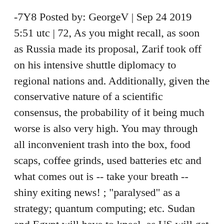-7Y8 Posted by: GeorgeV | Sep 24 2019 5:51 utc | 72, As you might recall, as soon as Russia made its proposal, Zarif took off on his intensive shuttle diplomacy to regional nations and. Additionally, given the conservative nature of a scientific consensus, the probability of it being much worse is also very high. You may through all inconvenient trash into the box, food scaps, coffee grinds, used batteries etc and what comes out is -- take your breath -- shiny exiting news! ; "paralysed" as a strategy; quantum computing; etc. Sudan and Egypt will have to kneel, as US will get control of Bab Al Mandeb. The other is about the self-medicating and propagandistic version of reality that